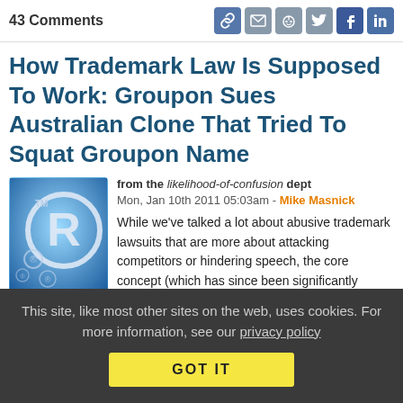43 Comments
How Trademark Law Is Supposed To Work: Groupon Sues Australian Clone That Tried To Squat Groupon Name
from the likelihood-of-confusion dept
Mon, Jan 10th 2011 05:03am - Mike Masnick
[Figure (illustration): Trademark logo illustration with registered trademark R symbol on blue background]
Trademark
While we've talked a lot about abusive trademark lawsuits that are more about attacking competitors or hindering speech, the core concept (which has since been significantly stretched) still does make some sense: it works as a form of consumer protection, to stop consumers from being fooled into believing, say
This site, like most other sites on the web, uses cookies. For more information, see our privacy policy
GOT IT